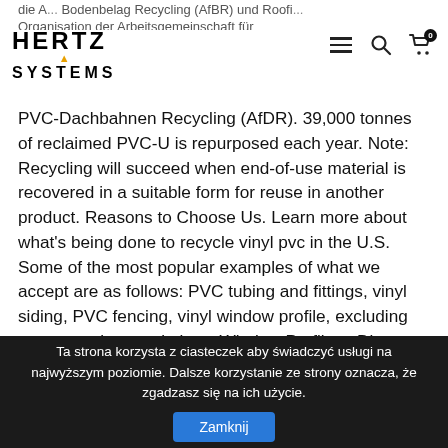HERTZ SYSTEMS (logo with navigation icons)
die A... Bodenbelag Recycling (AfBR) und Roofing... Organisation der Arbeitsgemeinschaft für PVC-Dachbahnen Recycling (AfDR). 39,000 tonnes of reclaimed PVC-U is repurposed each year. Note: Recycling will succeed when end-of-use material is recovered in a suitable form for reuse in another product. Reasons to Choose Us. Learn more about what's being done to recycle vinyl pvc in the U.S. Some of the most popular examples of what we accept are as follows: PVC tubing and fittings, vinyl siding, PVC fencing, vinyl window profile, excluding screws springs and glass. Window Profiles . Diese rohstofflichen Verfahren unterteilen sich in Prozesse mit und ohne Chlorlimitierung. PVC, P.E. Seit Anfang 2005 bilden die Rohr-Recycling in Westeregeln – ein Tochterunternehmen der Tönsmeier-Gruppe – und der Kunststoffrohrverband (KRV) eine Allianz, um die Verwertungsmengen zu steigern. Coated fabrics. With our advanced
Ta strona korzysta z ciasteczek aby świadczyć usługi na najwyższym poziomie. Dalsze korzystanie ze strony oznacza, że zgadzasz się na ich użycie. Zamknij